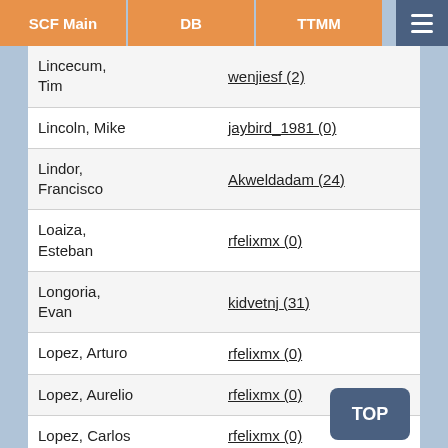SCF Main | DB | TTMM
| Player | User |
| --- | --- |
| Lincecum, Tim | wenjiesf (2) |
| Lincoln, Mike | jaybird_1981 (0) |
| Lindor, Francisco | Akweldadam (24) |
| Loaiza, Esteban | rfelixmx (0) |
| Longoria, Evan | kidvetnj (31) |
| Lopez, Arturo | rfelixmx (0) |
| Lopez, Aurelio | rfelixmx (0) |
| Lopez, Carlos | rfelixmx (0) |
| Lopez, | rfelixmx (0) |